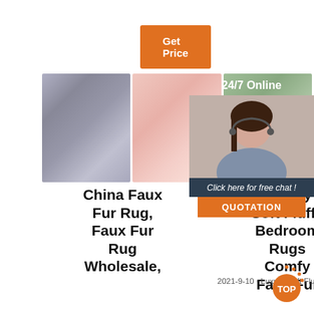[Figure (other): Orange 'Get Price' button]
[Figure (photo): Three product photos: grey faux fur cushions, pink fluffy chair cover, green plant room]
[Figure (other): 24/7 Online chat overlay with customer service representative photo and QUOTATION button]
China Faux Fur Rug, Faux Fur Rug Wholesale,
Luxury Soft Fluffy Bedroom Rugs Comfy Faux Fur
Ca... C... dire... Nangong Xungong Fur Co Ltd.
China Faux Fur Rug wholesale - Select 2021 high quality Faux Fur
2021-9-10 · Luxury Soft Fluffy Bedroom Rugs
Luxury Faux Fur